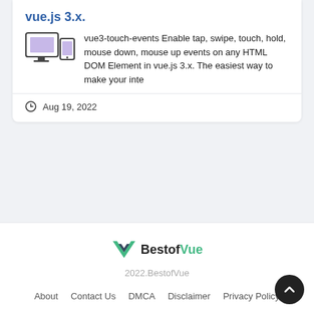vue.js 3.x.
[Figure (illustration): Icon showing a desktop monitor and tablet device with purple/lavender rectangular elements on screen, representing responsive/multi-device UI]
vue3-touch-events Enable tap, swipe, touch, hold, mouse down, mouse up events on any HTML DOM Element in vue.js 3.x. The easiest way to make your inte
Aug 19, 2022
[Figure (logo): BestofVue logo with green Vue.js chevron/V icon followed by bold text 'Bestof' in dark and 'Vue' in green]
2022.BestofVue
About   Contact Us   DMCA   Disclaimer   Privacy Policy